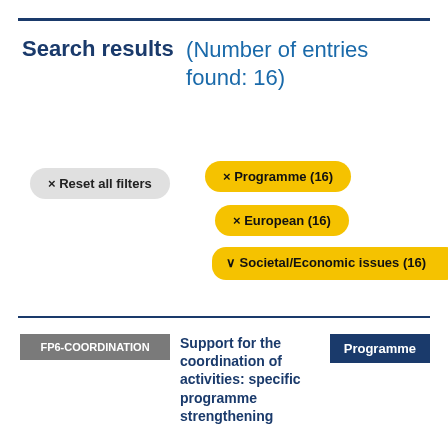Search results (Number of entries found: 16)
× Reset all filters
× Programme (16)
× European (16)
∨ Societal/Economic issues (16)
FP6-COORDINATION
Support for the coordination of activities: specific programme strengthening
Programme